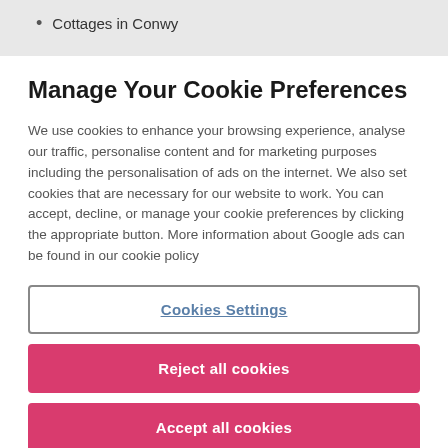Cottages in Conwy
Manage Your Cookie Preferences
We use cookies to enhance your browsing experience, analyse our traffic, personalise content and for marketing purposes including the personalisation of ads on the internet. We also set cookies that are necessary for our website to work. You can accept, decline, or manage your cookie preferences by clicking the appropriate button. More information about Google ads can be found in our cookie policy
Cookies Settings
Reject all cookies
Accept all cookies